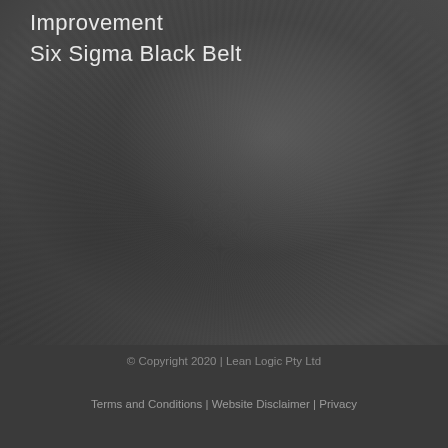Improvement
Six Sigma Black Belt
© Copyright 2020 | Lean Logic Pty Ltd
Terms and Conditions | Website Disclaimer | Privacy